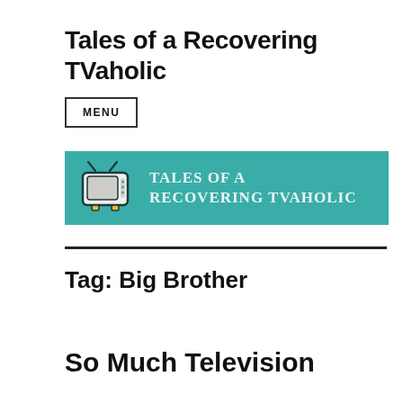Tales of a Recovering TVaholic
MENU
[Figure (logo): Teal banner with a retro TV illustration on the left and the text 'Tales of a Recovering TVaholic' in white serif uppercase letters on the right]
Tag: Big Brother
So Much Television